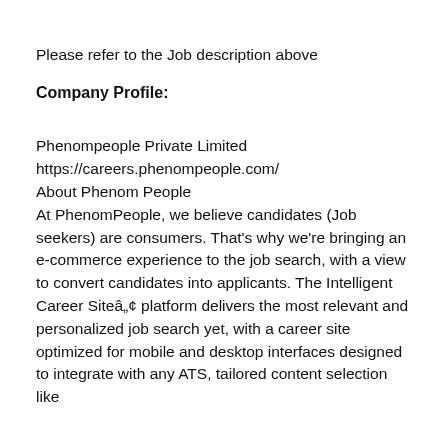Please refer to the Job description above
Company Profile:
Phenompeople Private Limited
https://careers.phenompeople.com/
About Phenom People
At PhenomPeople, we believe candidates (Job seekers) are consumers. That's why we're bringing an e-commerce experience to the job search, with a view to convert candidates into applicants. The Intelligent Career Siteâ„¢ platform delivers the most relevant and personalized job search yet, with a career site optimized for mobile and desktop interfaces designed to integrate with any ATS, tailored content selection like